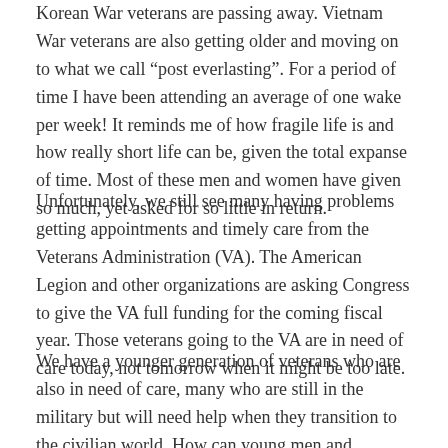Korean War veterans are passing away. Vietnam War veterans are also getting older and moving on to what we call “post everlasting”. For a period of time I have been attending an average of one wake per week! It reminds me of how fragile life is and how really short life can be, given the total expanse of time. Most of these men and women have given so much, yet asked for so little in return.
Unfortunately, we still see many having problems getting appointments and timely care from the Veterans Administration (VA). The American Legion and other organizations are asking Congress to give the VA full funding for the coming fiscal year. Those veterans going to the VA are in need of care today, not tomorrow when it might be too late.
We have a younger generation of veterans who are also in need of care, many who are still in the military but will need help when they transition to the civilian world. How can young men and women, our children and grandchildren, be asked to serve in the future with little guarantee that any problems from serving will be taken care of by our government.